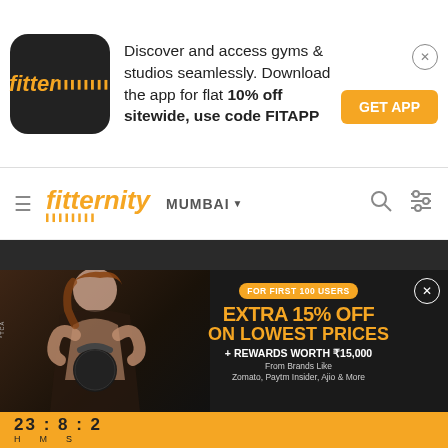[Figure (screenshot): Fitter app logo - black rounded square with orange italic 'fitter' text and dotted keyboard pattern]
Discover and access gyms & studios seamlessly. Download the app for flat 10% off sitewide, use code FITAPP
GET APP
[Figure (logo): Fitternity logo in orange italic font with dotted keyboard pattern beneath]
MUMBAI ▾
[Figure (infographic): Promotional banner with woman doing kettlebell workout. Text: FOR FIRST 100 USERS, EXTRA 15% OFF ON LOWEST PRICES + REWARDS WORTH ₹15,000 From Brands Like Zomato, Paytm Insider, Ajio & More]
23 : 8 : 2
H   M   S